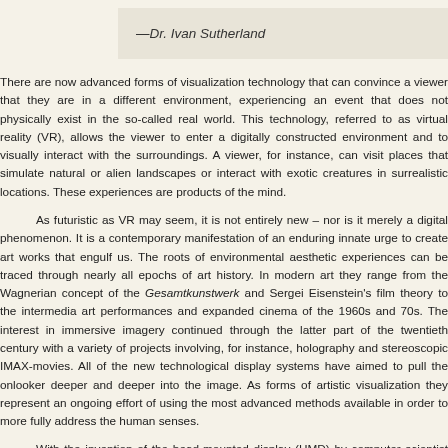—Dr. Ivan Sutherland
There are now advanced forms of visualization technology that can convince a viewer that they are in a different environment, experiencing an event that does not physically exist in the so-called real world. This technology, referred to as virtual reality (VR), allows the viewer to enter a digitally constructed environment and to visually interact with the surroundings. A viewer, for instance, can visit places that simulate natural or alien landscapes or interact with exotic creatures in surrealistic locations. These experiences are products of the mind.
As futuristic as VR may seem, it is not entirely new – nor is it merely a digital phenomenon. It is a contemporary manifestation of an enduring innate urge to create art works that engulf us. The roots of environmental aesthetic experiences can be traced through nearly all epochs of art history. In modern art they range from the Wagnerian concept of the Gesamtkunstwerk and Sergei Eisenstein's film theory to the intermedia art performances and expanded cinema of the 1960s and 70s. The interest in immersive imagery continued through the latter part of the twentieth century with a variety of projects involving, for instance, holography and stereoscopic IMAX-movies. All of the new technological display systems have aimed to pull the onlooker deeper and deeper into the image. As forms of artistic visualization they represent an ongoing effort of using the most advanced methods available in order to more fully address the human senses.
With the invention of the head-mounted display (HMD) by computer scientist Ivan Sutherland in 1968, a new perceptual dimension was introduced to the ongoing development of visualization technology: the ability for a user to become totally immersed in a dynamic virtual image. By constructing a device that projects separate images in front of each eye for the stereoscopic effect), Sutherland made it possible for a user to experience a computer-generated three-dimensional virtual space.